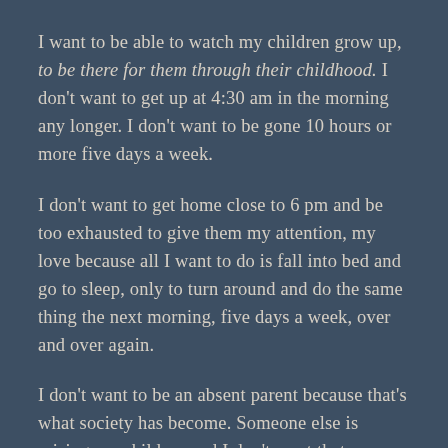I want to be able to watch my children grow up, to be there for them through their childhood. I don't want to get up at 4:30 am in the morning any longer. I don't want to be gone 10 hours or more five days a week.
I don't want to get home close to 6 pm and be too exhausted to give them my attention, my love because all I want to do is fall into bed and go to sleep, only to turn around and do the same thing the next morning, five days a week, over and over again.
I don't want to be an absent parent because that's what society has become. Someone else is raising my children and I don't want that any longer.
I have two Masters and a shit ton of student loan debt